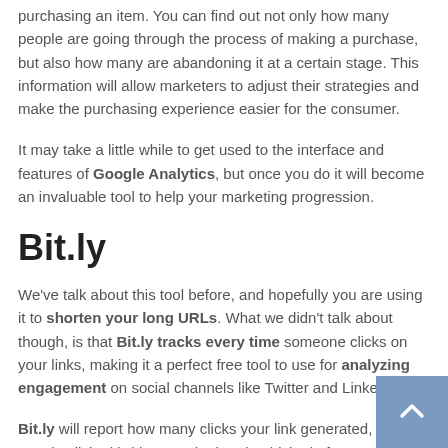purchasing an item. You can find out not only how many people are going through the process of making a purchase, but also how many are abandoning it at a certain stage. This information will allow marketers to adjust their strategies and make the purchasing experience easier for the consumer.
It may take a little while to get used to the interface and features of Google Analytics, but once you do it will become an invaluable tool to help your marketing progression.
Bit.ly
We've talk about this tool before, and hopefully you are using it to shorten your long URLs. What we didn't talk about though, is that Bit.ly tracks every time someone clicks on your links, making it a perfect free tool to use for analyzing engagement on social channels like Twitter and LinkedIn.
Bit.ly will report how many clicks your link generated, when people clicked it (down to the hour), which platforms people used to share the link, and even a map of your link's geographic distribution of clicks (which is helpful for